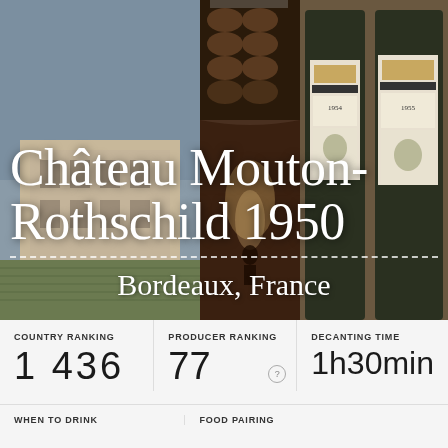[Figure (photo): Hero collage of three images: left shows a château building exterior, center shows wine barrels or a cellar corridor in dark tones, right shows vintage wine bottles with Château Mouton-Rothschild labels from 1954/1955]
Château Mouton-Rothschild 1950
Château Mouton-Rothschild, Bordeaux, France
COUNTRY RANKING
1 436
PRODUCER RANKING
77
DECANTING TIME
1h30min
WHEN TO DRINK
FOOD PAIRING